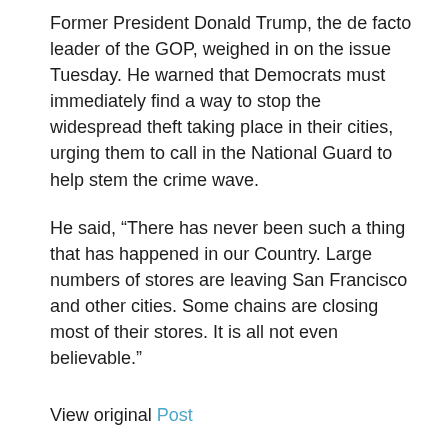Former President Donald Trump, the de facto leader of the GOP, weighed in on the issue Tuesday. He warned that Democrats must immediately find a way to stop the widespread theft taking place in their cities, urging them to call in the National Guard to help stem the crime wave.
He said, “There has never been such a thing that has happened in our Country. Large numbers of stores are leaving San Francisco and other cities. Some chains are closing most of their stores. It is all not even believable.”
View original Post